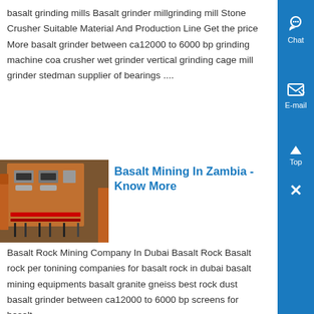basalt grinding mills Basalt grinder millgrinding mill Stone Crusher Suitable Material And Production Line Get the price More basalt grinder between ca12000 to 6000 bp grinding machine coa crusher wet grinder vertical grinding cage mill grinder stedman supplier of bearings ....
[Figure (photo): Photo of electrical panel with circuit breakers and wiring]
Basalt Mining In Zambia - Know More
Basalt Rock Mining Company In Dubai Basalt Rock Basalt rock per tonining companies for basalt rock in dubai basalt mining equipments basalt granite gneiss best rock dust basalt grinder between ca12000 to 6000 bp screens for basalt